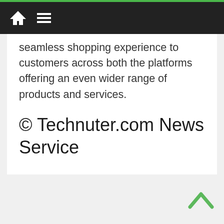Technuter.com News Service website navigation bar
seamless shopping experience to customers across both the platforms offering an even wider range of products and services.
© Technuter.com News Service